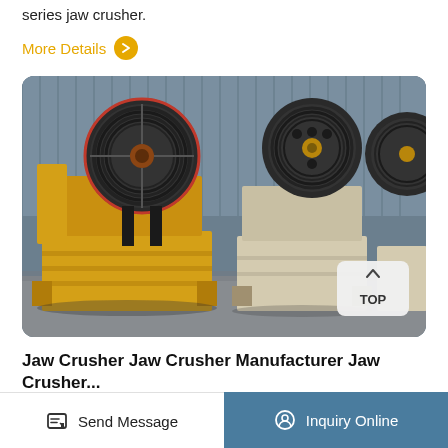series jaw crusher.
More Details
[Figure (photo): Multiple yellow and beige jaw crusher machines lined up in a factory/warehouse setting with large black pulley wheels on top. A 'TOP' navigation button is visible in the bottom right corner of the image.]
Jaw Crusher Jaw Crusher Manufacturer Jaw Crusher...
Send Message  Inquiry Online